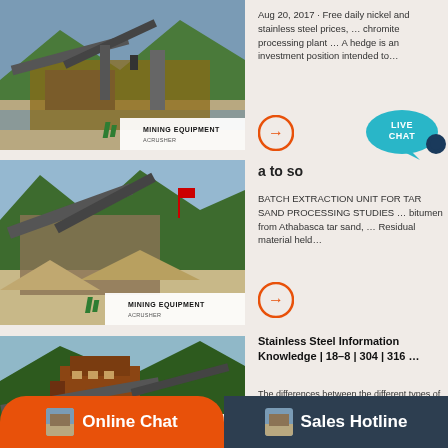[Figure (photo): Mining equipment / crusher machinery at a riverbed site with conveyor belts, with MINING EQUIPMENT ACRUSHER logo overlay]
Aug 20, 2017 · Free daily nickel and stainless steel prices, … chromite processing plant … A hedge is an investment position intended to…
[Figure (infographic): Orange circle arrow button (read more / navigate)]
[Figure (infographic): Live Chat speech bubble icon in teal with text LIVE CHAT]
[Figure (photo): Mining equipment / crusher machinery with conveyor belts at a mountain site, with MINING EQUIPMENT ACRUSHER logo overlay]
a to so
BATCH EXTRACTION UNIT FOR TAR SAND PROCESSING STUDIES … bitumen from Athabasca tar sand, … Residual material held…
[Figure (infographic): Orange circle arrow button (read more / navigate)]
[Figure (photo): Large industrial mining processing plant structure on mountainside with MINING EQUIPMENT ACRUSHER logo]
Stainless Steel Information Knowledge | 18–8 | 304 | 316 …
The differences between the different types of stainless steel are … In those food processing … Type 316 is the main stainless used in the …
Online Chat
Sales Hotline